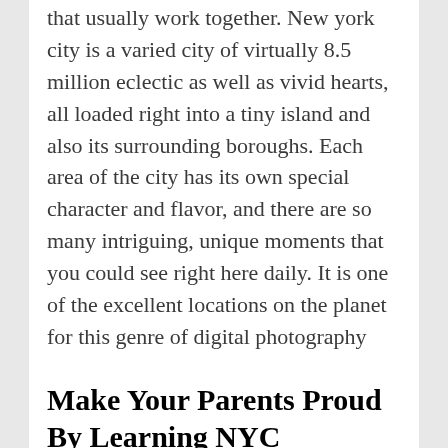that usually work together. New york city is a varied city of virtually 8.5 million eclectic as well as vivid hearts, all loaded right into a tiny island and also its surrounding boroughs. Each area of the city has its own special character and flavor, and there are so many intriguing, unique moments that you could see right here daily. It is one of the excellent locations on the planet for this genre of digital photography
Make Your Parents Proud By Learning NYC